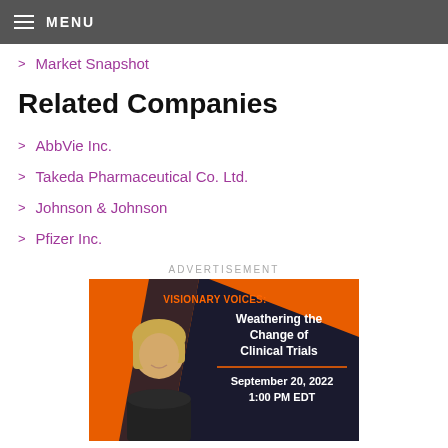MENU
Market Snapshot
Related Companies
AbbVie Inc.
Takeda Pharmaceutical Co. Ltd.
Johnson & Johnson
Pfizer Inc.
ADVERTISEMENT
[Figure (infographic): Advertisement banner for 'Visionary Voices: Weathering the Change of Clinical Trials' event on September 20, 2022, 1:00 PM EDT. Features a woman's photo on dark background with orange accents.]